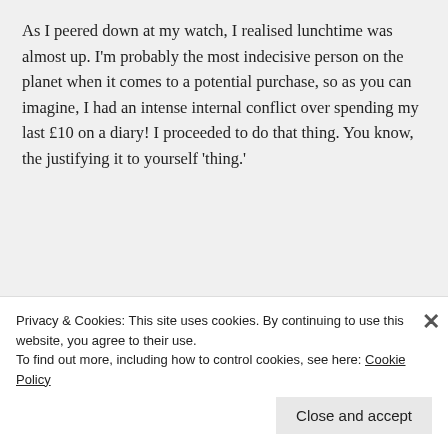As I peered down at my watch, I realised lunchtime was almost up. I'm probably the most indecisive person on the planet when it comes to a potential purchase, so as you can imagine, I had an intense internal conflict over spending my last £10 on a diary! I proceeded to do that thing. You know, the justifying it to yourself 'thing.'
[Figure (other): Red banner advertisement with white bold text reading 'the web — ours, and everyone else's.' and a black 'Start reading' button]
Privacy & Cookies: This site uses cookies. By continuing to use this website, you agree to their use.
To find out more, including how to control cookies, see here: Cookie Policy